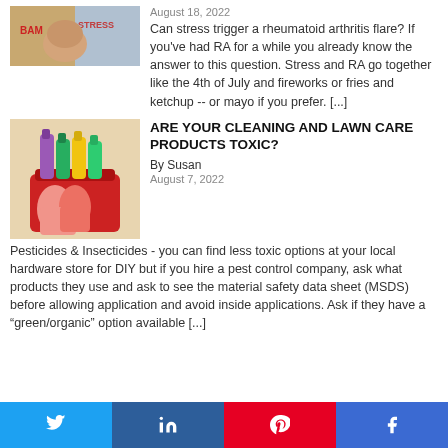[Figure (photo): Person with stress, showing words BAM and STRESS in background]
August 18, 2022
Can stress trigger a rheumatoid arthritis flare? If you've had RA for a while you already know the answer to this question. Stress and RA go together like the 4th of July and fireworks or fries and ketchup -- or mayo if you prefer. [...]
[Figure (photo): Cleaning and lawn care products - spray bottles and cleaning supplies in a red bucket with pink rubber gloves]
ARE YOUR CLEANING AND LAWN CARE PRODUCTS TOXIC?
By Susan
August 7, 2022
Pesticides & Insecticides - you can find less toxic options at your local hardware store for DIY but if you hire a pest control company, ask what products they use and ask to see the material safety data sheet (MSDS) before allowing application and avoid inside applications. Ask if they have a “green/organic” option available [...]
Twitter LinkedIn Pinterest Facebook social share buttons